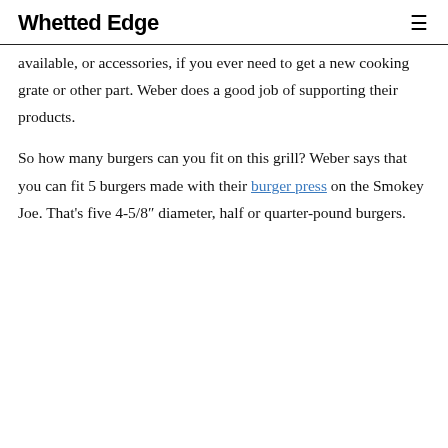Whetted Edge
available, or accessories, if you ever need to get a new cooking grate or other part. Weber does a good job of supporting their products.
So how many burgers can you fit on this grill? Weber says that you can fit 5 burgers made with their burger press on the Smokey Joe. That's five 4-5/8″ diameter, half or quarter-pound burgers.